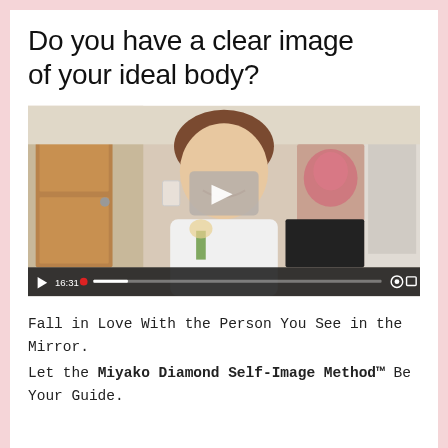Do you have a clear image of your ideal body?
[Figure (screenshot): A video player showing a smiling woman with short brown hair in a white top, in a room with a wooden door on the left and a floral painting behind her. A play button overlay is visible in the center. The video controls bar at the bottom shows a play button, timestamp 16:31, a red dot, a progress bar, a gear icon, and an expand icon.]
Fall in Love With the Person You See in the Mirror.
Let the Miyako Diamond Self-Image Method™ Be Your Guide.